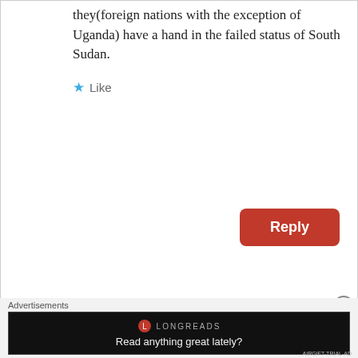they(foreign nations with the exception of Uganda) have a hand in the failed status of South Sudan.
Like
Reply
Loberito
April 3, 2015 at 10:08 pm
[Figure (illustration): Avatar of user Loberito — a cartoon blue round bird with a brain-like head, small eyes, and green feet]
It is sad that South Sudan is run by hypocrites in Juba. How can the government officials blame outside world for their own fault? They are the
Advertisements
[Figure (screenshot): Longreads advertisement banner — black background with Longreads logo and text 'Read anything great lately?']